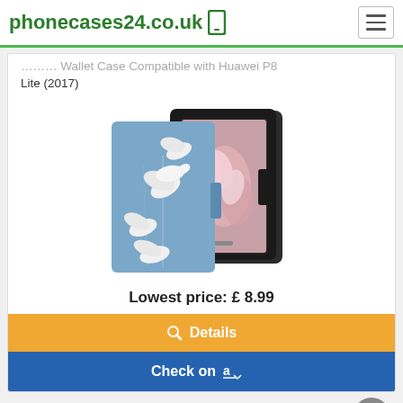phonecases24.co.uk
... Wallet Case Compatible with Huawei P8 Lite (2017)
[Figure (photo): Product photo of a blue floral magnolia wallet phone case shown open beside a Huawei P8 Lite smartphone]
Lowest price: £ 8.99
Details
Check on Amazon
Yoedge for Huawei P8 Lite 2017 Case, Black Silicone with